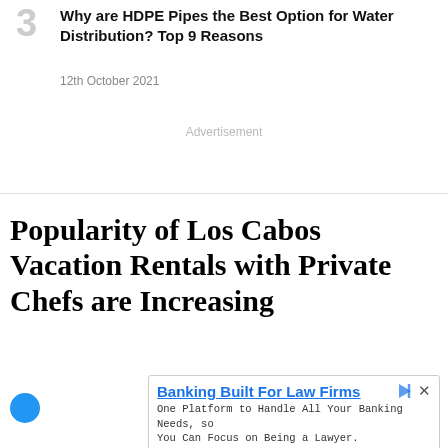3 Why are HDPE Pipes the Best Option for Water Distribution? Top 9 Reasons
12th October 2021
Advertisement
Popularity of Los Cabos Vacation Rentals with Private Chefs are Increasing
[Figure (other): Advertisement banner for banking services targeting law firms. Title: Banking Built For Law Firms. Body: One Platform to Handle All Your Banking Needs, so You Can Focus on Being a Lawyer. Footer: Nota | Open button.]